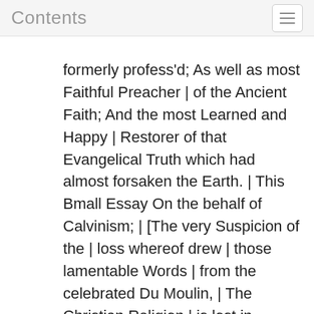Contents
formerly profess'd; As well as most Faithful Preacher | of the Ancient Faith; And the most Learned and Happy | Restorer of that Evangelical Truth which had almost forsaken the Earth. | This Bmall Essay On the behalf of Calvinism; | [The very Suspicion of the | loss whereof drew | those lamentable Words | from the celebrated Du Moulin, | The Christian Religion | is lost in England!] | As a Testimonial of Great | Honour and Affection is, | with all due Respect | Presented and Dedicated by | C. M. D. D.," in twenty-five lines; 21 1 p.,